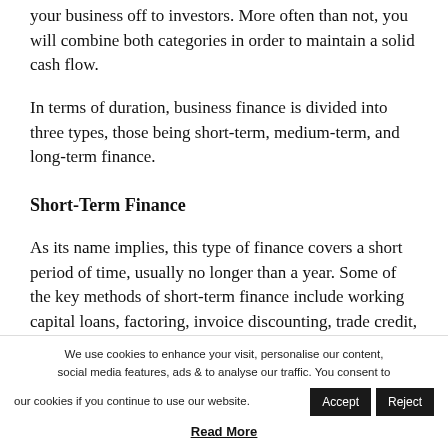your business off to investors. More often than not, you will combine both categories in order to maintain a solid cash flow.
In terms of duration, business finance is divided into three types, those being short-term, medium-term, and long-term finance.
Short-Term Finance
As its name implies, this type of finance covers a short period of time, usually no longer than a year. Some of the key methods of short-term finance include working capital loans, factoring, invoice discounting, trade credit, and business line of credit.
We use cookies to enhance your visit, personalise our content, social media features, ads & to analyse our traffic. You consent to our cookies if you continue to use our website.
Read More